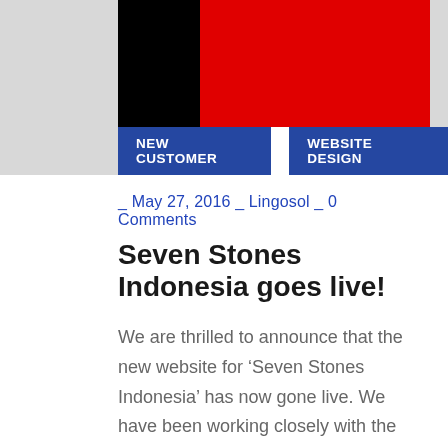[Figure (illustration): Header with black rectangle on left and red rectangle on right, on a grey background. Two blue category tags: NEW CUSTOMER and WEBSITE DESIGN.]
_ May 27, 2016 _ Lingosol _ 0 Comments
Seven Stones Indonesia goes live!
We are thrilled to announce that the new website for ‘Seven Stones Indonesia’ has now gone live. We have been working closely with the lovely chaps at Seven Stones and have provided them with a website which is functional and looks great. It has been an exciting project and one we are very proud to